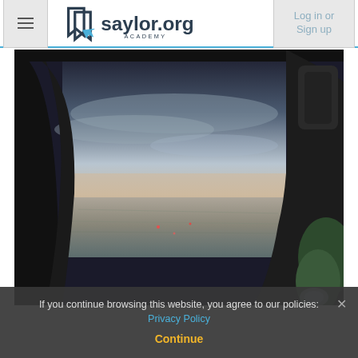saylor.org Academy — Log in or Sign up
[Figure (photo): View from an airplane window showing a cityscape below and cloudy sky, with airplane seat and a person's arm visible on the right side]
If you continue browsing this website, you agree to our policies: Privacy Policy
Continue